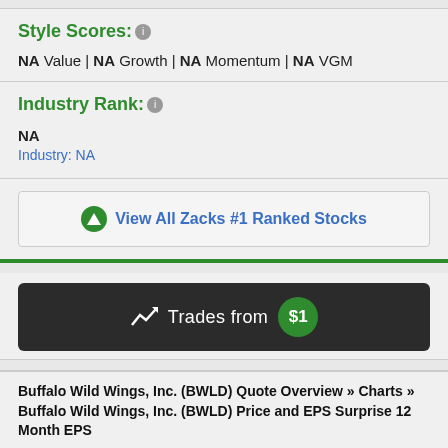Style Scores:
NA Value | NA Growth | NA Momentum | NA VGM
Industry Rank:
NA
Industry: NA
View All Zacks #1 Ranked Stocks
[Figure (infographic): Dark banner with arrow icon reading 'Trades from $1' with a green circle badge showing $1]
Buffalo Wild Wings, Inc. (BWLD) Quote Overview » Charts » Buffalo Wild Wings, Inc. (BWLD) Price and EPS Surprise 12 Month EPS